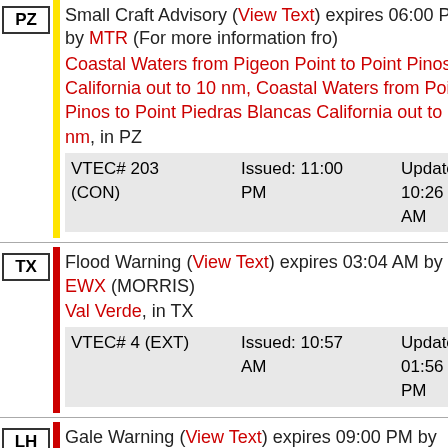PZ | Small Craft Advisory (View Text) expires 06:00 PM by MTR (For more information fro) Coastal Waters from Pigeon Point to Point Pinos California out to 10 nm, Coastal Waters from Point Pinos to Point Piedras Blancas California out to 10 nm, in PZ | VTEC# 203 (CON) | Issued: 11:00 PM | Updated: 10:26 AM
TX | Flood Warning (View Text) expires 03:04 AM by EWX (MORRIS) Val Verde, in TX | VTEC# 4 (EXT) | Issued: 10:57 AM | Updated: 01:56 PM
LH | Gale Warning (View Text) expires 09:00 PM by APX () 5NM East of Mackinac Bridge to Presque Isle Light MI including Bois Blanc Island, in LH